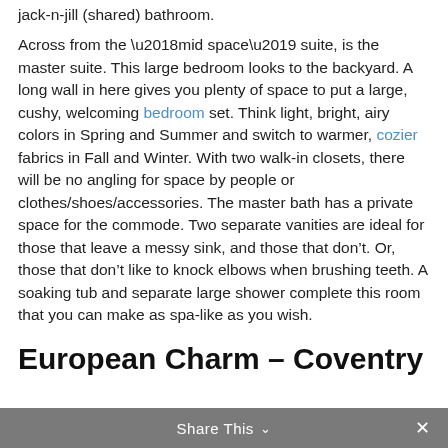jack-n-jill (shared) bathroom.
Across from the ‘mid space’ suite, is the master suite.  This large bedroom looks to the backyard.  A long wall in here gives you plenty of space to put a large, cushy, welcoming bedroom set.  Think light, bright, airy colors in Spring and Summer and switch to warmer, cozier fabrics in Fall and Winter.  With two walk-in closets, there will be no angling for space by people or clothes/shoes/accessories.  The master bath has a private space for the commode.  Two separate vanities are ideal for those that leave a messy sink, and those that don’t.  Or, those that don’t like to knock elbows when brushing teeth.  A soaking tub and separate large shower complete this room that you can make as spa-like as you wish.
European Charm – Coventry
Share This ∨ ×